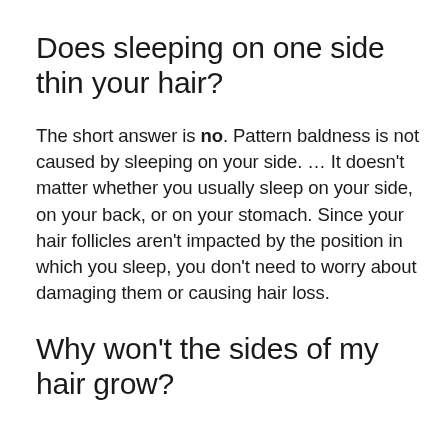Does sleeping on one side thin your hair?
The short answer is no. Pattern baldness is not caused by sleeping on your side. … It doesn't matter whether you usually sleep on your side, on your back, or on your stomach. Since your hair follicles aren't impacted by the position in which you sleep, you don't need to worry about damaging them or causing hair loss.
Why won't the sides of my hair grow?